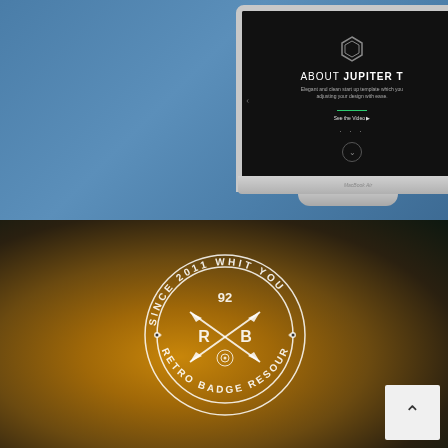[Figure (screenshot): MacBook Air laptop mockup showing a dark website with text 'ABOUT JUPITER T' and hexagonal logo icon, on a steel blue background]
[Figure (illustration): Circular retro badge on a warm brown bokeh background reading 'SINCE 2011 WHIT YOU' around the top, 'RETRO BADGE RESOURCE' around the bottom, with crossed arrows, number 92, letters R and B, and a small eye/star emblem in the center. A back-to-top button is in the bottom right corner.]